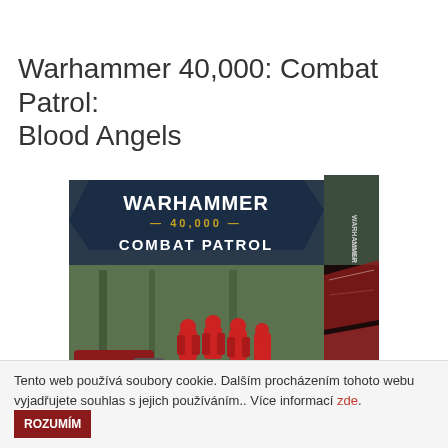Warhammer 40,000: Combat Patrol: Blood Angels
[Figure (photo): Product box for Warhammer 40,000: Combat Patrol: Blood Angels showing red Space Marine miniatures, a tank, and the box artwork with WARHAMMER 40,000 COMBAT PATROL branding on a dark background.]
Tento web používá soubory cookie. Dalším procházením tohoto webu vyjadřujete souhlas s jejich používáním.. Více informací zde. ROZUMÍM